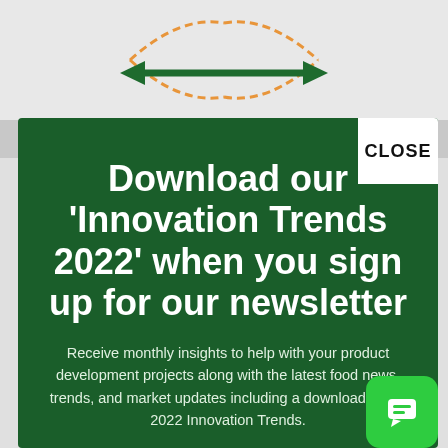[Figure (schematic): Partial diagram showing a green double-headed arrow with orange dashed curved lines, adapted from BRL Research]
Image adapted from BRL Research
Download our 'Innovation Trends 2022' when you sign up for our newsletter
Receive monthly insights to help with your product development projects along with the latest food news, trends, and market updates including a download of the 2022 Innovation Trends.